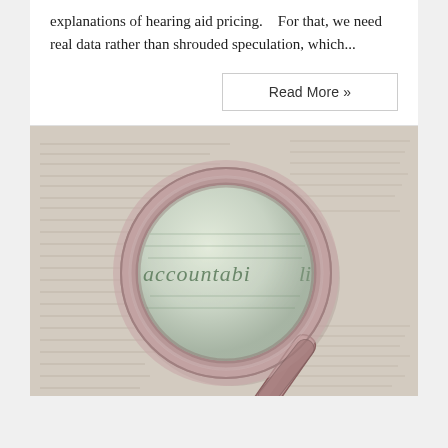explanations of hearing aid pricing.    For that, we need real data rather than shrouded speculation, which…
Read More »
[Figure (photo): A magnifying glass resting on a printed document, with the word 'accountability' visible through the lens, suggesting scrutiny and transparency.]